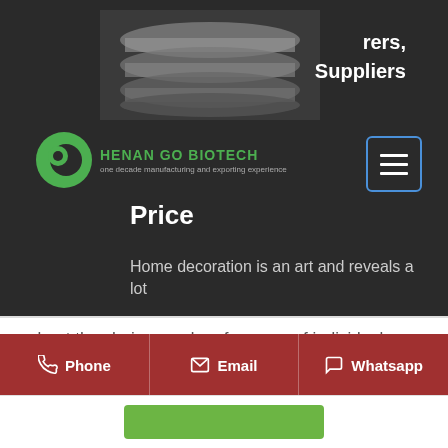[Figure (screenshot): Website screenshot of Henan Go Biotech, showing header with dark background, logo, hamburger menu, and product listing page content about China Dotp suppliers]
rers, Suppliers
Price
Home decoration is an art and reveals a lot about the choices and preferences of individuals. You have a huge variety of products to experience with such as China Dotp listed above and its similar choices: dioctyl terephthalate, plasticizer dotp, plasticizer. Match them with the top quality Chinese Dotp factory & manufacturers list and more here.
Phone  Email  Whatsapp